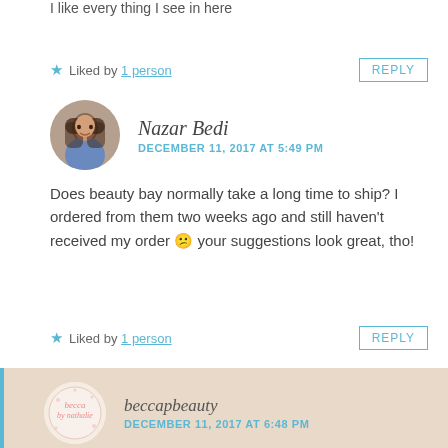I like every thing I see in here
★ Liked by 1 person
REPLY
Nazar Bedi
DECEMBER 11, 2017 AT 5:49 PM
Does beauty bay normally take a long time to ship? I ordered from them two weeks ago and still haven't received my order 😕 your suggestions look great, tho!
★ Liked by 1 person
REPLY
beccapbeauty
DECEMBER 11, 2017 AT 6:48 PM
Hi Nazar,